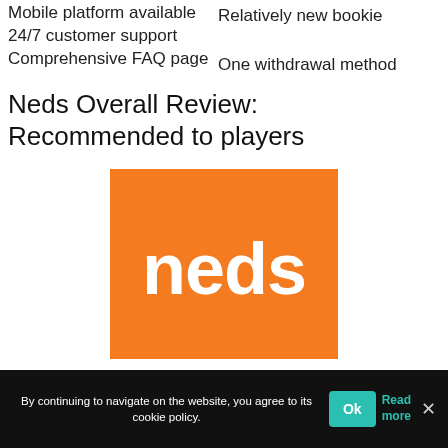Mobile platform available
Relatively new bookie
24/7 customer support
One withdrawal method
Comprehensive FAQ page
Neds Overall Review: Recommended to players
[Figure (logo): Neds logo — white 'neds' wordmark on an orange square background]
By continuing to navigate on the website, you agree to its cookie policy.